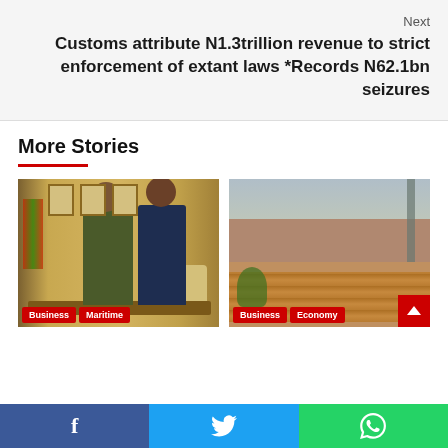Next
Customs attribute N1.3trillion revenue to strict enforcement of extant laws *Records N62.1bn seizures
More Stories
[Figure (photo): Two men standing in an office — one in military uniform and one in a business suit — appearing to have a conversation.]
[Figure (photo): An outdoor area showing what appears to be goods or items spread on the ground next to a concrete wall.]